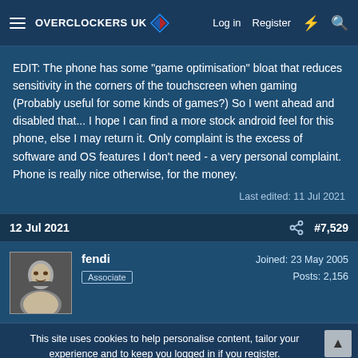Overclockers UK — Log in | Register
EDIT: The phone has some "game optimisation" bloat that reduces sensitivity in the corners of the touchscreen when gaming (Probably useful for some kinds of games?) So I went ahead and disabled that... I hope I can find a more stock android feel for this phone, else I may return it. Only complaint is the excess of software and OS features I don't need - a very personal complaint. Phone is really nice otherwise, for the money.
Last edited: 11 Jul 2021
12 Jul 2021   #7,529
fendi
Associate
Joined: 23 May 2005
Posts: 2,156
This site uses cookies to help personalise content, tailor your experience and to keep you logged in if you register.
By continuing to use this site, you are consenting to our use of cookies.